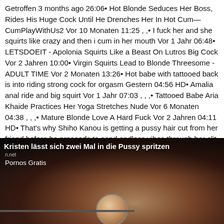Getroffen 3 months ago 26:06• Hot Blonde Seduces Her Boss, Rides His Huge Cock Until He Drenches Her In Hot Cum—CumPlayWithUs2 Vor 10 Monaten 11:25 , ,• I fuck her and she squirts like crazy and then i cum in her mouth Vor 1 Jahr 06:48• LETSDOEIT - Apolonia Squirts Like a Beast On Lutros Big Cock Vor 2 Jahren 10:00• Virgin Squirts Lead to Blonde Threesome - ADULT TIME Vor 2 Monaten 13:26• Hot babe with tattooed back is into riding strong cock for orgasm Gestern 04:56 HD• Amalia anal ride and big squirt Vor 1 Jahr 07:03 , , ,• Tattooed Babe Aria Khaide Practices Her Yoga Stretches Nude Vor 6 Monaten 04:38 , , ,• Mature Blonde Love A Hard Fuck Vor 2 Jahren 04:11 HD• That's why Shiho Kanou is getting a pussy hair cut from her friend before he proceeds to send endless vibes through her clit while fucking her nicely with his fingers for the best orgasmic effect.
[Figure (screenshot): Video thumbnail showing a dark blurred image with white overlay text reading 'Kristen lässt sich zwei Mal in die Pussy spritzen' and 'Pornos Gratis' with a watermark 'n.net']